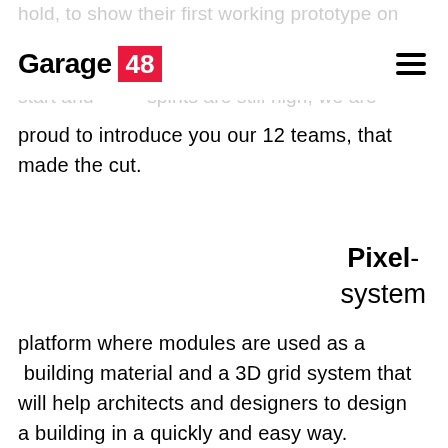Garage 48
hold, to show their first working prototype on Sunday of us we wait for the first drills to start and spirits are still high, we are proud to introduce you our 12 teams, that made the cut.
Pixel-system
platform where modules are used as a building material and a 3D grid system that will help architects and designers to design a building in a quickly and easy way.